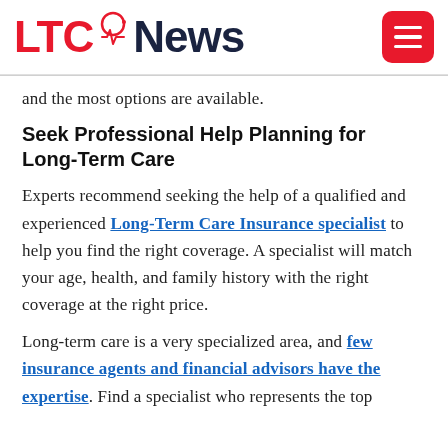[Figure (logo): LTC News logo with red LTC text and dark blue News text, with a small circuit/heartbeat icon between them]
and the most options are available.
Seek Professional Help Planning for Long-Term Care
Experts recommend seeking the help of a qualified and experienced Long-Term Care Insurance specialist to help you find the right coverage. A specialist will match your age, health, and family history with the right coverage at the right price.
Long-term care is a very specialized area, and few insurance agents and financial advisors have the expertise. Find a specialist who represents the top